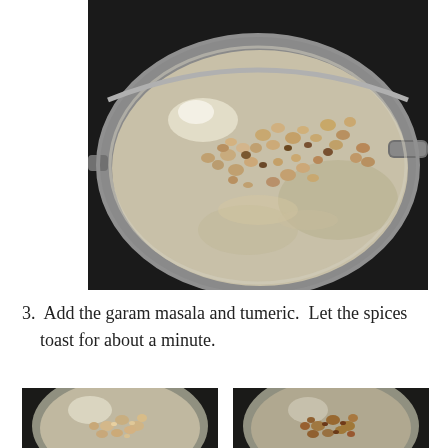[Figure (photo): A large stainless steel wok/pan viewed from above on a dark stovetop, containing chopped/diced onions that have been sautéed with some browning visible. The pan has two handles visible on the sides.]
3. Add the garam masala and tumeric.  Let the spices toast for about a minute.
[Figure (photo): Close-up of a stainless steel pan with sautéed diced onions and spices just added, showing a lighter mixture.]
[Figure (photo): Close-up of a stainless steel pan with sautéed diced onions after spices have been toasted, showing a darker browned mixture.]